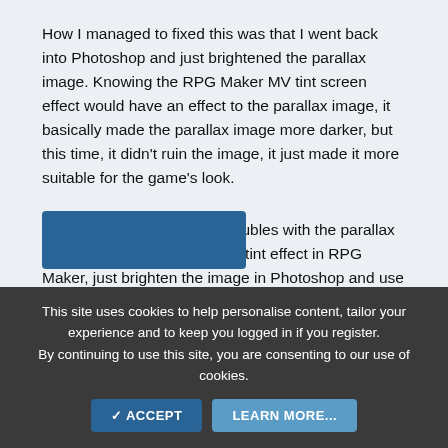How I managed to fixed this was that I went back into Photoshop and just brightened the parallax image. Knowing the RPG Maker MV tint screen effect would have an effect to the parallax image, it basically made the parallax image more darker, but this time, it didn't ruin the image, it just made it more suitable for the game's look.
Alright, so if you're having troubles with the parallax image getting effected by the tint effect in RPG Maker, just brighten the image in Photoshop and use that image as the parallax background.
This site uses cookies to help personalise content, tailor your experience and to keep you logged in if you register.
By continuing to use this site, you are consenting to our use of cookies.